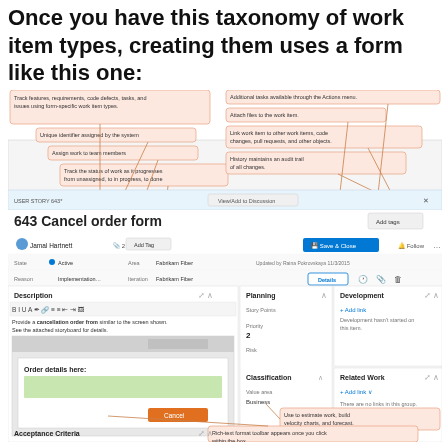Once you have this taxonomy of work item types, creating them uses a form like this one:
[Figure (screenshot): Screenshot of an Azure DevOps work item form (User Story #643 'Cancel order form') annotated with callout bubbles explaining: Track features, requirements, code defects, tasks, and issues using form-specific work item types; Unique identifier assigned by the system; Assign work to team members; Track the status of work as it progresses from unassigned, to in progress, to done; Additional tasks available through the Actions menu; Attach files to the work item; Link work item to other work items, code changes, pull requests, and other objects; History maintains an audit trail of all changes; Use to estimate work, build velocity charts, and forecast; Rich-text format toolbar appears once you click within the box.]